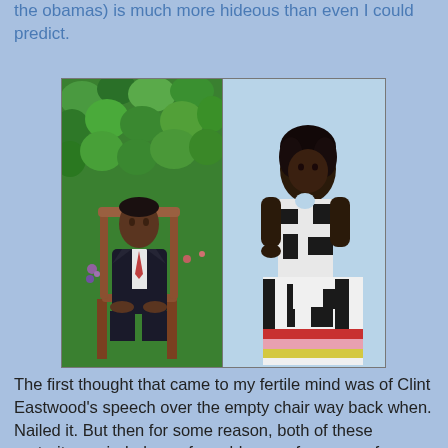the obamas) is much more hideous than even I could predict.
[Figure (photo): Two official portraits side by side: left shows Barack Obama seated in a chair surrounded by green foliage; right shows Michelle Obama seated in a black and white patterned dress against a light blue background.]
The first thought that came to my fertile mind was of Clint Eastwood's speech over the empty chair way back when. Nailed it. But then for some reason, both of these portraits reminded me of an old scene from one of Stephen King's movies/shows.
Describing "Would like a loud...